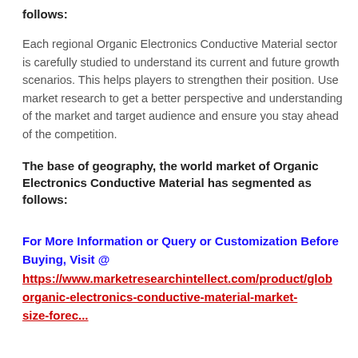follows:
Each regional Organic Electronics Conductive Material sector is carefully studied to understand its current and future growth scenarios. This helps players to strengthen their position. Use market research to get a better perspective and understanding of the market and target audience and ensure you stay ahead of the competition.
The base of geography, the world market of Organic Electronics Conductive Material has segmented as follows:
For More Information or Query or Customization Before Buying, Visit @ https://www.marketresearchintellect.com/product/glob-organic-electronics-conductive-material-market-...